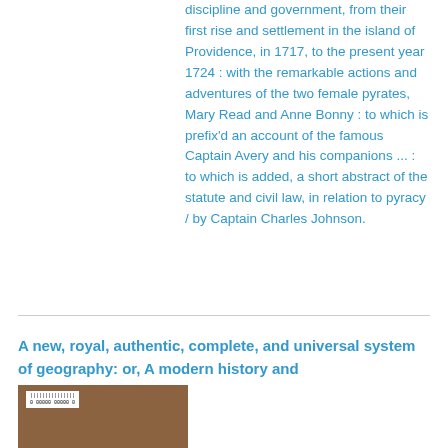discipline and government, from their first rise and settlement in the island of Providence, in 1717, to the present year 1724 : with the remarkable actions and adventures of the two female pyrates, Mary Read and Anne Bonny : to which is prefix'd an account of the famous Captain Avery and his companions ... : to which is added, a short abstract of the statute and civil law, in relation to pyracy / by Captain Charles Johnson.
A new, royal, authentic, complete, and universal system of geography: or, A modern history and
[Figure (photo): A brown book cover with a small white barcode/label sticker in the upper left corner.]